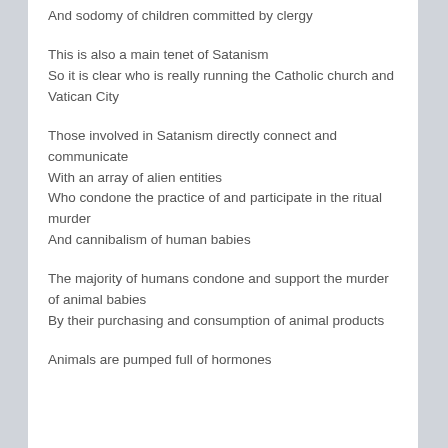And sodomy of children committed by clergy
This is also a main tenet of Satanism
So it is clear who is really running the Catholic church and Vatican City
Those involved in Satanism directly connect and communicate
With an array of alien entities
Who condone the practice of and participate in the ritual murder
And cannibalism of human babies
The majority of humans condone and support the murder of animal babies
By their purchasing and consumption of animal products
Animals are pumped full of hormones